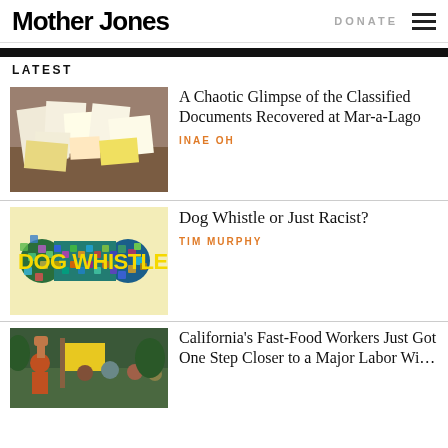Mother Jones | DONATE
LATEST
A Chaotic Glimpse of the Classified Documents Recovered at Mar-a-Lago
INAE OH
Dog Whistle or Just Racist?
TIM MURPHY
California's Fast-Food Workers Just Got One Step Closer to a Major Labor Wi…